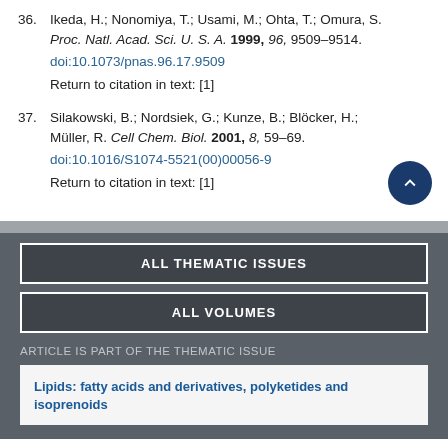36. Ikeda, H.; Nonomiya, T.; Usami, M.; Ohta, T.; Omura, S. Proc. Natl. Acad. Sci. U. S. A. 1999, 96, 9509–9514. doi:10.1073/pnas.96.17.9509 Return to citation in text: [1]
37. Silakowski, B.; Nordsiek, G.; Kunze, B.; Blöcker, H.; Müller, R. Cell Chem. Biol. 2001, 8, 59–69. doi:10.1016/S1074-5521(00)00056-9 Return to citation in text: [1]
ALL THEMATIC ISSUES
ALL VOLUMES
ARTICLE IS PART OF THE THEMATIC ISSUE
Lipids: fatty acids and derivatives, polyketides and isoprenoids